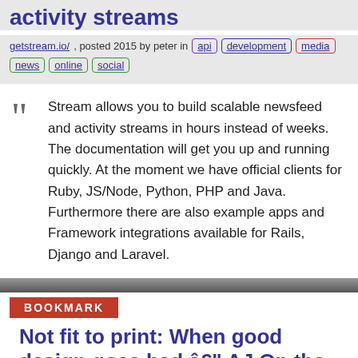activity streams
getstream.io/, posted 2015 by peter in api development media news online social
Stream allows you to build scalable newsfeed and activity streams in hours instead of weeks. The documentation will get you up and running quickly. At the moment we have official clients for Ruby, JS/Node, Python, PHP and Java. Furthermore there are also example apps and Framework integrations available for Rails, Django and Laravel.
Bookmark
Not fit to print: When good design goes bad â€" AJ On the News â€" Medium